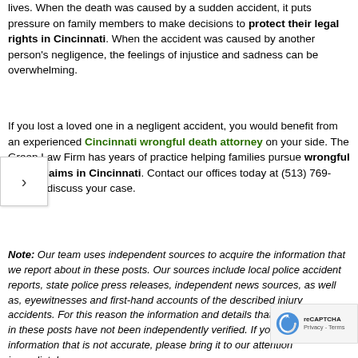lives. When the death was caused by a sudden accident, it puts pressure on family members to make decisions to protect their legal rights in Cincinnati. When the accident was caused by another person's negligence, the feelings of injustice and sadness can be overwhelming.
If you lost a loved one in a negligent accident, you would benefit from an experienced Cincinnati wrongful death attorney on your side. The Green Law Firm has years of practice helping families pursue wrongful death claims in Cincinnati. Contact our offices today at (513) 769-0840 to discuss your case.
Note: Our team uses independent sources to acquire the information that we report about in these posts. Our sources include local police accident reports, state police press releases, independent news sources, as well as, eyewitnesses and first-hand accounts of the described injury accidents. For this reason the information and details that we report about in these posts have not been independently verified. If you locate any information that is not accurate, please bring it to our attention immediately.